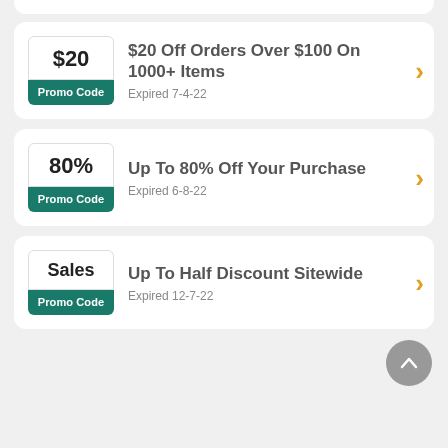[Figure (other): Coupon card: $20 Off Orders Over $100 On 1000+ Items, Promo Code, Expired 7-4-22]
[Figure (other): Coupon card: Up To 80% Off Your Purchase, Promo Code, Expired 6-8-22]
[Figure (other): Coupon card: Up To Half Discount Sitewide, Sales / Promo Code, Expired 12-7-22]